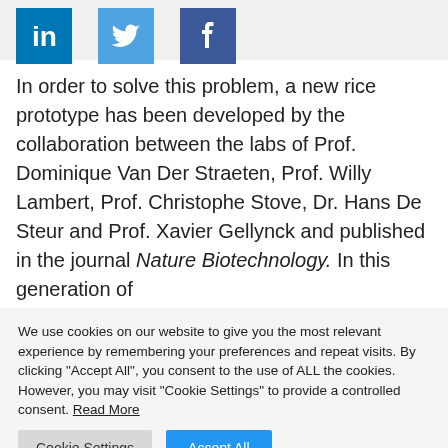[Figure (other): Social media share icons: LinkedIn (blue square with 'in'), Twitter (light blue square with bird icon), Facebook (dark blue square with 'f')]
In order to solve this problem, a new rice prototype has been developed by the collaboration between the labs of Prof. Dominique Van Der Straeten, Prof. Willy Lambert, Prof. Christophe Stove, Dr. Hans De Steur and Prof. Xavier Gellynck and published in the journal Nature Biotechnology. In this generation of
We use cookies on our website to give you the most relevant experience by remembering your preferences and repeat visits. By clicking "Accept All", you consent to the use of ALL the cookies. However, you may visit "Cookie Settings" to provide a controlled consent. Read More
Cookie Settings | Accept All